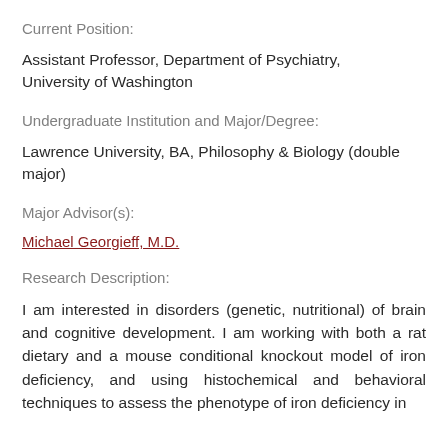Current Position:
Assistant Professor, Department of Psychiatry, University of Washington
Undergraduate Institution and Major/Degree:
Lawrence University, BA, Philosophy & Biology (double major)
Major Advisor(s):
Michael Georgieff, M.D.
Research Description:
I am interested in disorders (genetic, nutritional) of brain and cognitive development. I am working with both a rat dietary and a mouse conditional knockout model of iron deficiency, and using histochemical and behavioral techniques to assess the phenotype of iron deficiency in